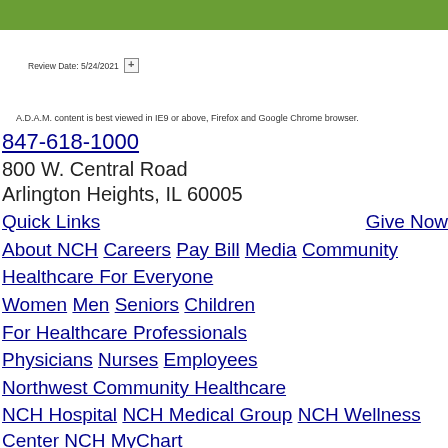Review Date: 5/24/2021
A.D.A.M. content is best viewed in IE9 or above, Firefox and Google Chrome browser.
847-618-1000
800 W. Central Road
Arlington Heights, IL 60005
Quick Links | Give Now
About NCH  Careers  Pay Bill  Media  Community
Healthcare For Everyone
Women  Men  Seniors  Children
For Healthcare Professionals
Physicians  Nurses  Employees
Northwest Community Healthcare
NCH Hospital  NCH Medical Group  NCH Wellness Center  NCH MyChart
© 2015 Northwest Community Healthcare. All rights reserved.
Twitter  Facebook  Youtube
Sign up for Email  Physician/Employee Login